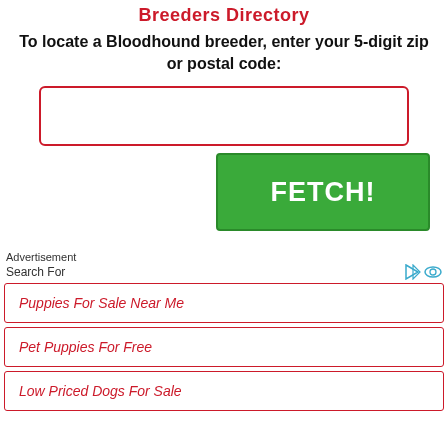Breeders Directory
To locate a Bloodhound breeder, enter your 5-digit zip or postal code:
[Figure (other): Red-bordered text input box for zip or postal code entry]
[Figure (other): Green FETCH! button]
Advertisement
Search For
Puppies For Sale Near Me
Pet Puppies For Free
Low Priced Dogs For Sale